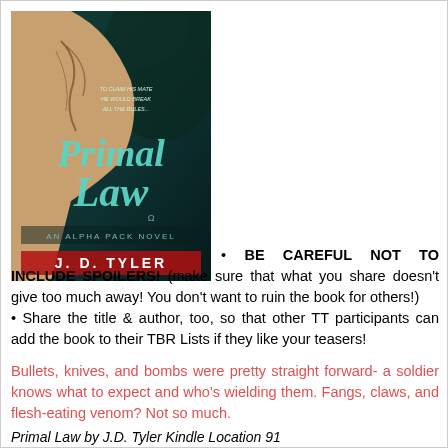[Figure (illustration): Book cover of 'Primal Law: An Alpha Pack Novel' by J.D. Tyler. Dark teal/green background with a tattooed shirtless figure. Title 'Primal Law' in large script. Subtitle 'AN ALPHA PACK NOVEL'. Author name 'J.D. TYLER' in red at the bottom. Small text reads 'TO CLAIM HIS MATE HE WOULD BREAK ALL THE RULES...']
BE CAREFUL NOT TO INCLUDE SPOILERS! (make sure that what you share doesn't give too much away! You don't want to ruin the book for others!)
Share the title & author, too, so that other TT participants can add the book to their TBR Lists if they like your teasers!
Bullets, knives, and bombs were pretty straight forward- a soldier knows what to expect and who's wielding them. Fangs, claws, and flesh-eating venom? Not so much.
Primal Law by J.D. Tyler Kindle Location 91